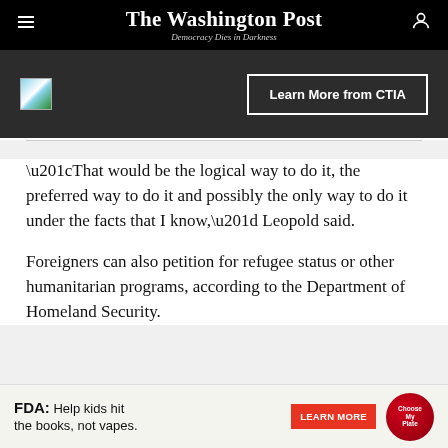The Washington Post — Democracy Dies in Darkness
[Figure (screenshot): Advertisement banner with CTIA Learn More button on dark background with broken image icon]
“That would be the logical way to do it, the preferred way to do it and possibly the only way to do it under the facts that I know,” Leopold said.
Foreigners can also petition for refugee status or other humanitarian programs, according to the Department of Homeland Security.
[Figure (screenshot): FDA advertisement: Help kids hit the books, not vapes. Learn More button and Choose My Plate logo.]